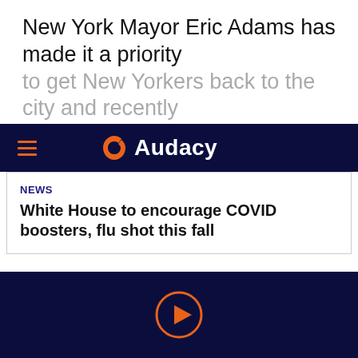New York Mayor Eric Adams has made it a priority to get New Yorkers back to the city and recently
[Figure (logo): Audacy navigation bar with hamburger menu icon and Audacy logo on dark navy background]
NEWS
White House to encourage COVID boosters, flu shot this fall
orientation in kindergarten through third grade, said Fabien Levy, the mayor's press secretary. New Yorkers historically have been the largest domestic source of new Floridians.
“With job growth faster than the rest of the nation, an economy on the rise, a reduction in crime, and
[Figure (other): Audio player play button (triangle in circle outline) on dark navy background]